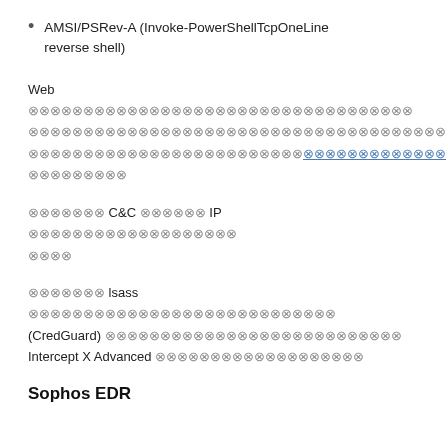AMSI/PSRev-A (Invoke-PowerShellTcpOneLine reverse shell)
Web [redacted] [redacted with blue underlined portion] [redacted]
[redacted] C&C [redacted] IP [redacted]
[redacted] lsass [redacted] (CredGuard) [redacted] Intercept X Advanced [redacted]
Sophos EDR